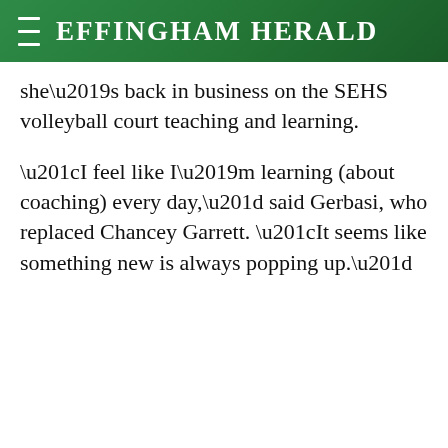Effingham Herald
she’s back in business on the SEHS volleyball court teaching and learning.
“I feel like I’m learning (about coaching) every day,” said Gerbasi, who replaced Chancey Garrett. “It seems like something new is always popping up.”